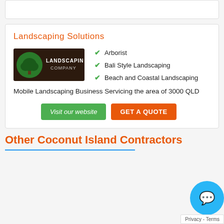Landscaping Solutions
[Figure (logo): Landscaping Company logo: dark brown background with green tree icon and text 'LANDSCAPING COMPANY']
Arborist
Bali Style Landscaping
Beach and Coastal Landscaping
Mobile Landscaping Business Servicing the area of 3000 QLD
Visit our website | GET A QUOTE
Other Coconut Island Contractors